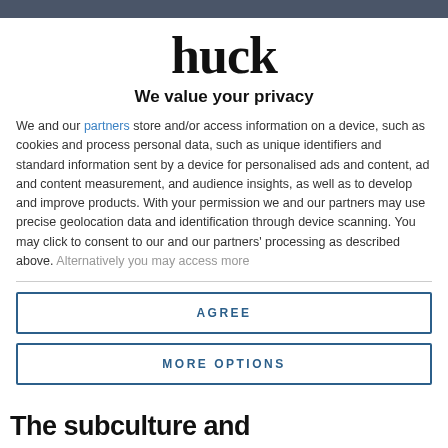huck
We value your privacy
We and our partners store and/or access information on a device, such as cookies and process personal data, such as unique identifiers and standard information sent by a device for personalised ads and content, ad and content measurement, and audience insights, as well as to develop and improve products. With your permission we and our partners may use precise geolocation data and identification through device scanning. You may click to consent to our and our partners' processing as described above. Alternatively you may access more
AGREE
MORE OPTIONS
The subculture and